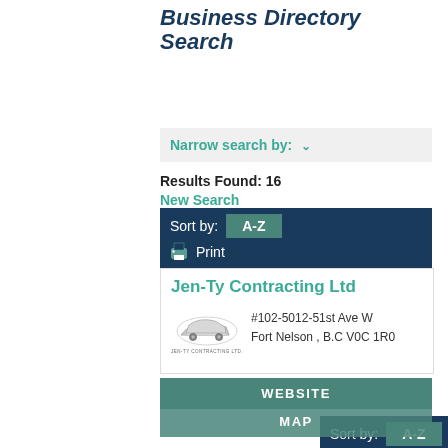Business Directory Search
Narrow search by:
Results Found: 16
New Search
Sort by: A-Z
Print
Jen-Ty Contracting Ltd
#102-5012-51st Ave W
Fort Nelson , B.C V0C 1R0
WEBSITE
MAP